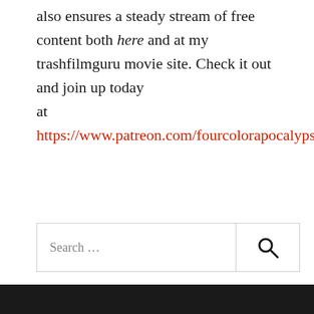also ensures a steady stream of free content both here and at my trashfilmguru movie site. Check it out and join up today at https://www.patreon.com/fourcolorapocalypse
Search ...